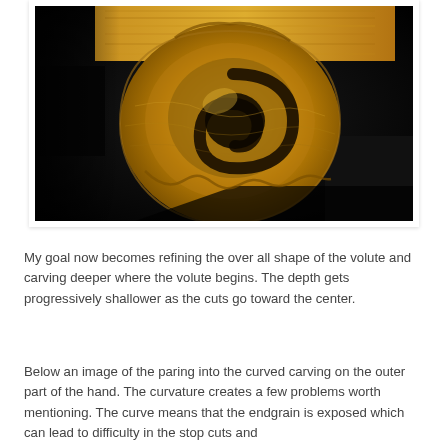[Figure (photo): Close-up photograph of a carved wooden volute scroll, showing the spiral grain detail in warm golden tones against a dark background.]
My goal now becomes refining the over all shape of the volute and carving deeper where the volute begins. The depth gets progressively shallower as the cuts go toward the center.
Below an image of the paring into the curved carving on the outer part of the hand. The curvature creates a few problems worth mentioning. The curve means that the endgrain is exposed which can lead to difficulty in the stop cuts and